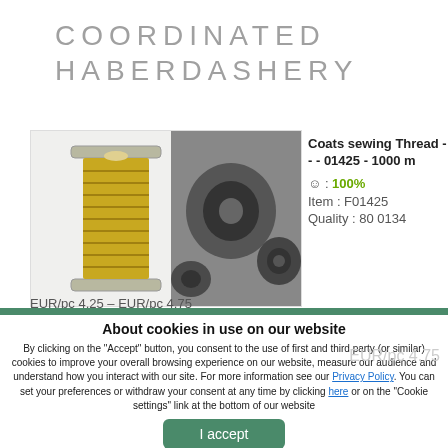COORDINATED HABERDASHERY
[Figure (photo): Product photo showing a gold/yellow thread spool illustration on the left and black thread spools photo on the right]
Coats sewing Thread - - - 01425 - 1000 m
☺ : 100%
Item : F01425
Quality : 80 0134
EUR/pc 4.25 - EUR/pc 4.75
About cookies in use on our website
By clicking on the "Accept" button, you consent to the use of first and third party (or similar) cookies to improve your overall browsing experience on our website, measure our audience and understand how you interact with our site. For more information see our Privacy Policy. You can set your preferences or withdraw your consent at any time by clicking here or on the "Cookie settings" link at the bottom of our website
I accept
Refuse